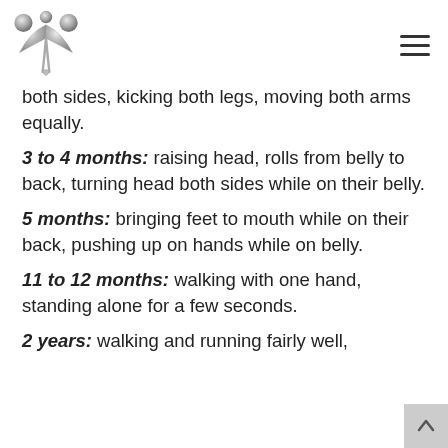[Logo] [Hamburger menu]
both sides, kicking both legs, moving both arms equally.
3 to 4 months: raising head, rolls from belly to back, turning head both sides while on their belly.
5 months: bringing feet to mouth while on their back, pushing up on hands while on belly.
11 to 12 months: walking with one hand, standing alone for a few seconds.
2 years: walking and running fairly well,